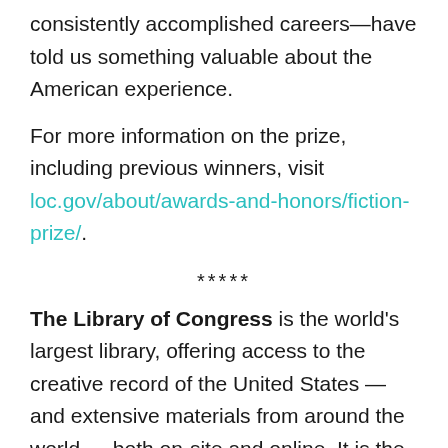consistently accomplished careers—have told us something valuable about the American experience.
For more information on the prize, including previous winners, visit loc.gov/about/awards-and-honors/fiction-prize/.
*****
The Library of Congress is the world's largest library, offering access to the creative record of the United States — and extensive materials from around the world — both on-site and online. It is the main research arm of the U.S. Congress and the home of the